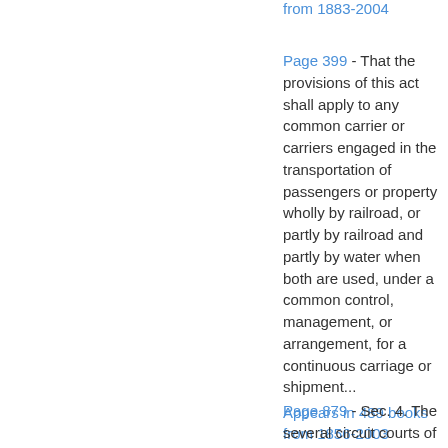from 1883-2004
Page 399 - That the provisions of this act shall apply to any common carrier or carriers engaged in the transportation of passengers or property wholly by railroad, or partly by railroad and partly by water when both are used, under a common control, management, or arrangement, for a continuous carriage or shipment...
Appears in 489 books from 1856-2003
Page 879 - Sec. 4. The several circuit courts of